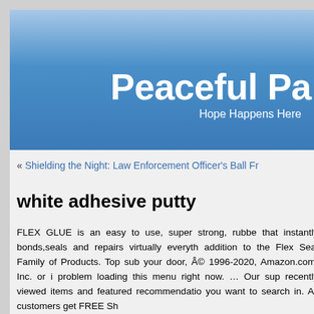Peaceful Pa
Hope Happens Here
« Shielding the Night: Law Enforcement Officer's Ball Fr
white adhesive putty
FLEX GLUE is an easy to use, super strong, rubbe that instantly bonds,seals and repairs virtually everyth addition to the Flex Seal Family of Products. Top sub your door, © 1996-2020, Amazon.com, Inc. or i problem loading this menu right now. … Our sup recently viewed items and featured recommendatio you want to search in. All customers get FREE Sh